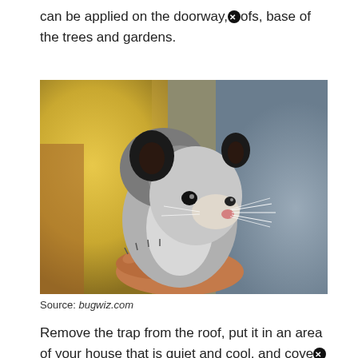can be applied on the doorway,❗ofs, base of the trees and gardens.
[Figure (photo): Close-up photo of an opossum being held by a person's hand, with a blurred yellow and blue background. The opossum has grey and white fur, large black ears, dark eyes, and long white whiskers.]
Source: bugwiz.com
Remove the trap from the roof, put it in an area of your house that is quiet and cool, and cove❗ with an old towel or blanket to